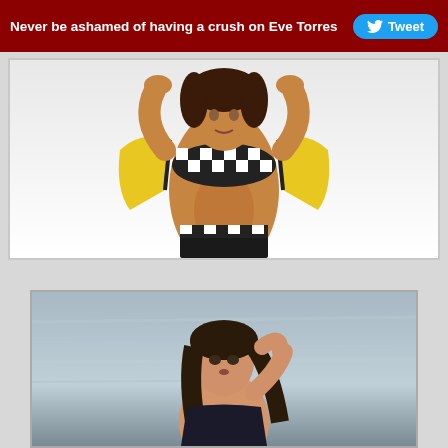Never be ashamed of having a crush on Eve Torres  Tweet
[Figure (photo): Woman in yellow racing jacket and checkered bikini top, arms raised above head, showing midriff, posed against white background]
[Figure (photo): Dark-haired woman at beach/ocean, posing with hand near hair, water visible in background]